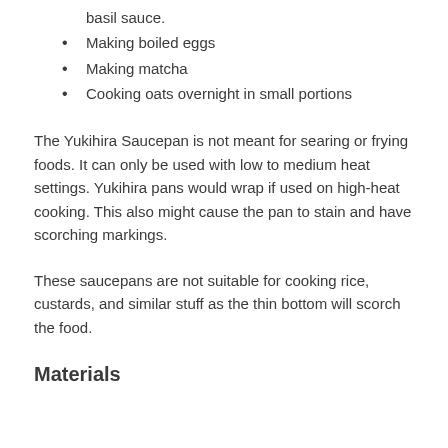basil sauce.
Making boiled eggs
Making matcha
Cooking oats overnight in small portions
The Yukihira Saucepan is not meant for searing or frying foods. It can only be used with low to medium heat settings. Yukihira pans would wrap if used on high-heat cooking. This also might cause the pan to stain and have scorching markings.
These saucepans are not suitable for cooking rice, custards, and similar stuff as the thin bottom will scorch the food.
Materials